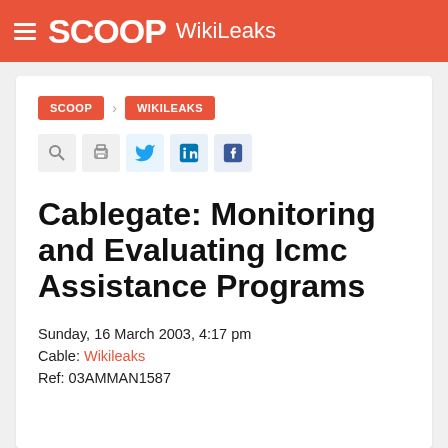SCOOP WikiLeaks
SCOOP > WIKILEAKS
Cablegate: Monitoring and Evaluating Icmc Assistance Programs
Sunday, 16 March 2003, 4:17 pm
Cable: Wikileaks
Ref: 03AMMAN1587